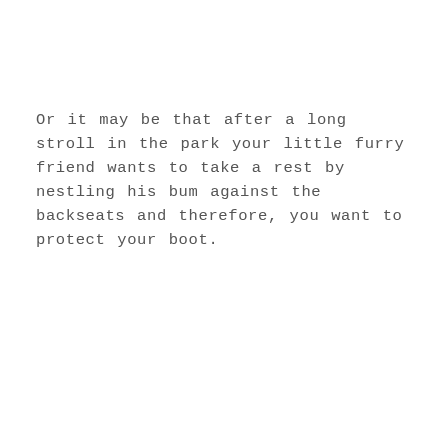Or it may be that after a long stroll in the park your little furry friend wants to take a rest by nestling his bum against the backseats and therefore, you want to protect your boot.